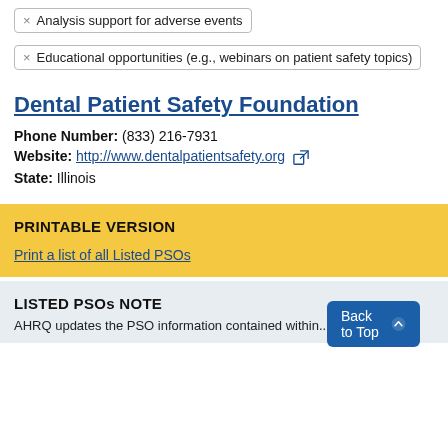× Analysis support for adverse events
× Educational opportunities (e.g., webinars on patient safety topics)
Dental Patient Safety Foundation
Phone Number: (833) 216-7931
Website: http://www.dentalpatientsafety.org
State: Illinois
PRINTABLE VERSION
Print a list of all Listed PSOs
LISTED PSOs NOTE
Back to Top
AHRQ updates the PSO information contained within...